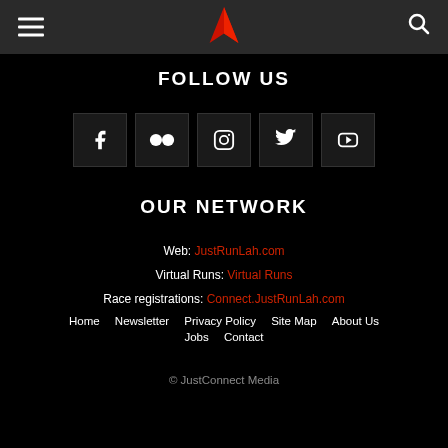Navigation header with hamburger menu, JustRunLah logo, and search icon
FOLLOW US
[Figure (infographic): Five social media icon buttons: Facebook, Flickr, Instagram, Twitter, YouTube]
OUR NETWORK
Web: JustRunLah.com
Virtual Runs: Virtual Runs
Race registrations: Connect.JustRunLah.com
Home   Newsletter   Privacy Policy   Site Map   About Us
Jobs   Contact
© JustConnect Media